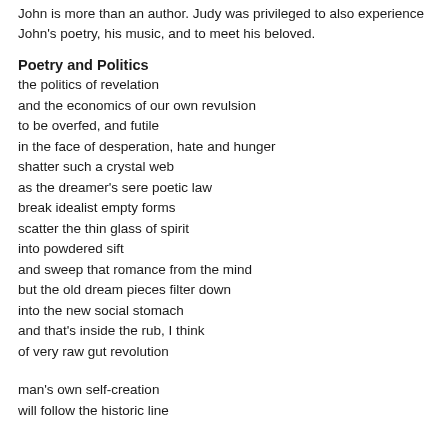John is more than an author. Judy was privileged to also experience John's poetry, his music, and to meet his beloved.
Poetry and Politics
the politics of revelation
and the economics of our own revulsion
to be overfed, and futile
in the face of desperation, hate and hunger
shatter such a crystal web
as the dreamer's sere poetic law
break idealist empty forms
scatter the thin glass of spirit
into powdered sift
and sweep that romance from the mind
but the old dream pieces filter down
into the new social stomach
and that's inside the rub, I think
of very raw gut revolution
man's own self-creation
will follow the historic line